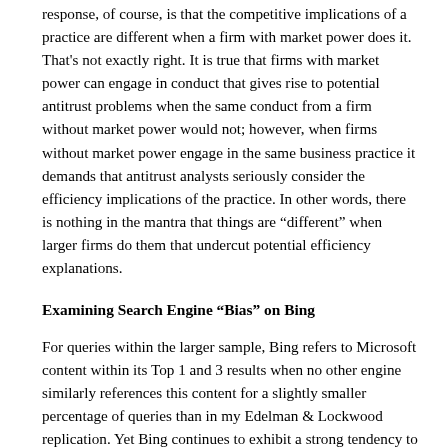response, of course, is that the competitive implications of a practice are different when a firm with market power does it. That's not exactly right. It is true that firms with market power can engage in conduct that gives rise to potential antitrust problems when the same conduct from a firm without market power would not; however, when firms without market power engage in the same business practice it demands that antitrust analysts seriously consider the efficiency implications of the practice. In other words, there is nothing in the mantra that things are “different” when larger firms do them that undercut potential efficiency explanations.
Examining Search Engine “Bias” on Bing
For queries within the larger sample, Bing refers to Microsoft content within its Top 1 and 3 results when no other engine similarly references this content for a slightly smaller percentage of queries than in my Edelman & Lockwood replication. Yet Bing continues to exhibit a strong tendency to rank Microsoft content more prominently than rival engines. For example, when Bing refers to Microsoft content within its Top 5 results, other engines agree with this ranking for less than 2% of queries; and Bing refers to Microsoft content that no other engine does within its Top 3 results for 99.2% of queries: